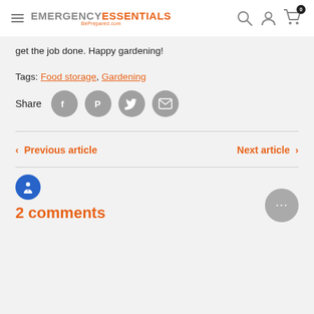EMERGENCY ESSENTIALS BePrepared.com — navigation header with hamburger menu, search, account, and cart icons
get the job done. Happy gardening!
Tags: Food storage, Gardening
Share
Previous article
Next article
2 comments